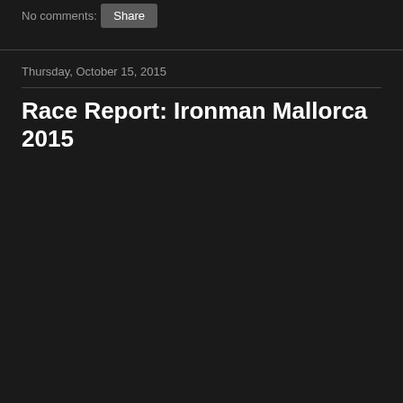No comments:
Share
Thursday, October 15, 2015
Race Report: Ironman Mallorca 2015